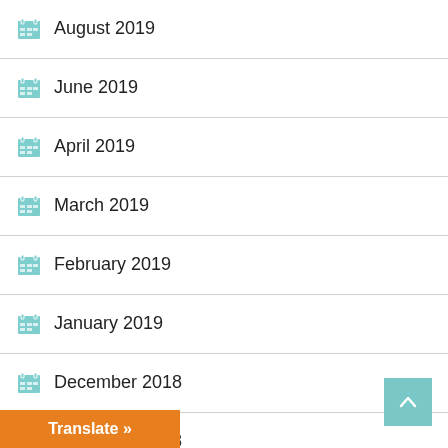August 2019
June 2019
April 2019
March 2019
February 2019
January 2019
December 2018
November 2018
October 2018
September 2018
August 2018
Translate »